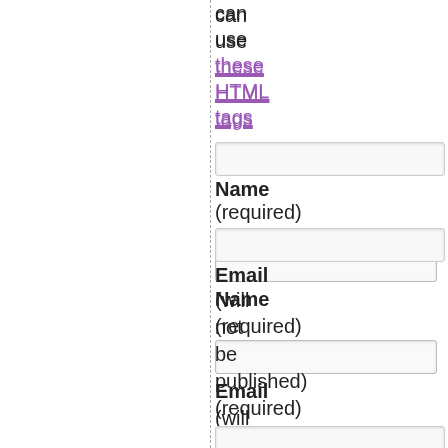can use these HTML tags
Name (required)
Email (will not be published) (required)
Website
Save my name, email, and